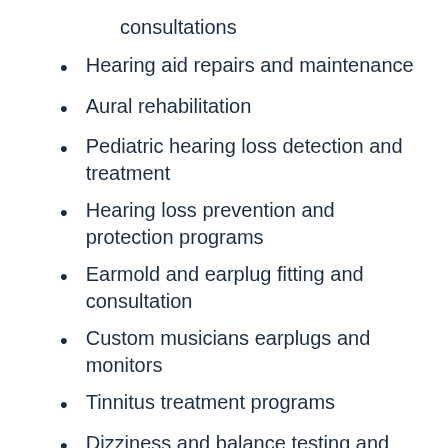consultations
Hearing aid repairs and maintenance
Aural rehabilitation
Pediatric hearing loss detection and treatment
Hearing loss prevention and protection programs
Earmold and earplug fitting and consultation
Custom musicians earplugs and monitors
Tinnitus treatment programs
Dizziness and balance testing and treatment
Hearing rehabilitation and auditory